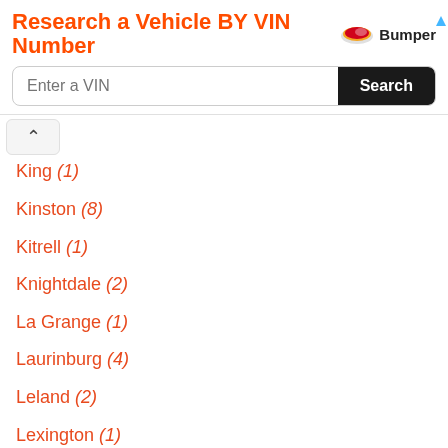Research a Vehicle BY VIN Number — Bumper
King (1)
Kinston (8)
Kitrell (1)
Knightdale (2)
La Grange (1)
Laurinburg (4)
Leland (2)
Lexington (1)
Lillington (1)